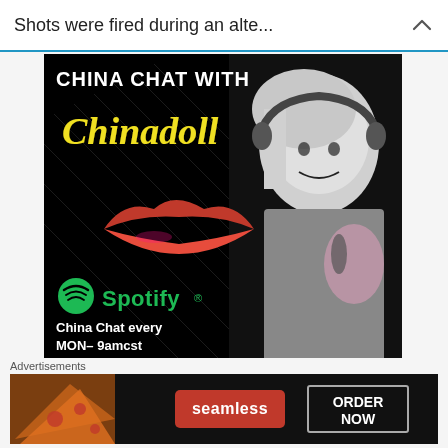Shots were fired during an alte...
[Figure (photo): Podcast promotional image for 'China Chat with Chinadoll' on Spotify. Black background with diagonal lines, white bold text 'CHINA CHAT WITH', yellow cursive 'Chinadoll', red lips graphic, Spotify logo with green text 'Spotify', and text 'China Chat every MON- 9amcst'. Right side shows a blonde woman with headphones in black and white.]
Chinadoll Killing it on all your favorite podcast platforms
Advertisements
[Figure (photo): Advertisement banner for Seamless food delivery. Dark background with pizza image on left, red 'seamless' button in center, and 'ORDER NOW' button with white border on right.]